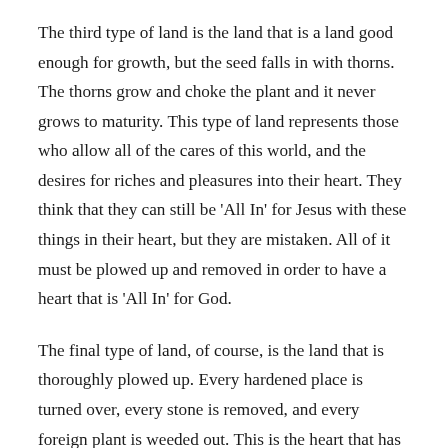The third type of land is the land that is a land good enough for growth, but the seed falls in with thorns. The thorns grow and choke the plant and it never grows to maturity. This type of land represents those who allow all of the cares of this world, and the desires for riches and pleasures into their heart. They think that they can still be 'All In' for Jesus with these things in their heart, but they are mistaken. All of it must be plowed up and removed in order to have a heart that is 'All In' for God.
The final type of land, of course, is the land that is thoroughly plowed up. Every hardened place is turned over, every stone is removed, and every foreign plant is weeded out. This is the heart that has been completely laid out before God with no reservation. It is a soft heart that is ready to be molded by the Master.